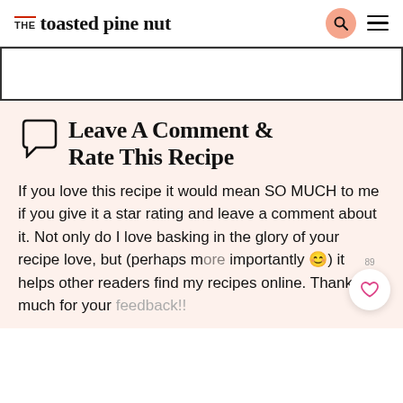THE toasted pine nut
[Figure (other): White rectangle placeholder image area]
Leave A Comment & Rate This Recipe
If you love this recipe it would mean SO MUCH to me if you give it a star rating and leave a comment about it. Not only do I love basking in the glory of your recipe love, but (perhaps more importantly 😊) it helps other readers find my recipes online. Thanks so much for your feedback!!